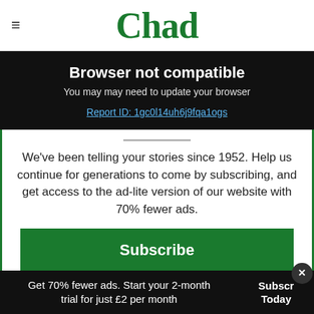Chad
Browser not compatible
You may need to update your browser
Report ID: 1gc0l14uh6j9fqa1ogs
We've been telling your stories since 1952. Help us continue for generations to come by subscribing, and get access to the ad-lite version of our website with 70% fewer ads.
Subscribe
Already subscribed? Log in here
Get 70% fewer ads. Start your 2-month trial for just £2 per month  Subscribe Today